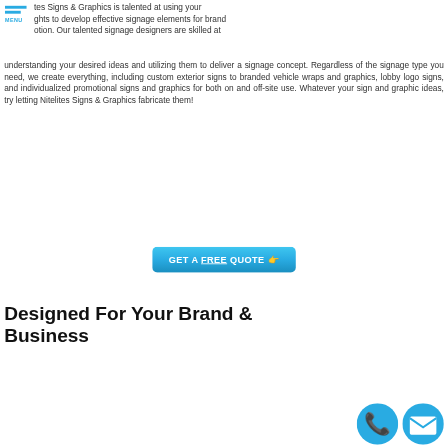[Figure (logo): Blue hamburger menu icon with two horizontal bars and MENU label in cyan]
tes Signs & Graphics is talented at using your ghts to develop effective signage elements for brand otion. Our talented signage designers are skilled at understanding your desired ideas and utilizing them to deliver a signage concept. Regardless of the signage type you need, we create everything, including custom exterior signs to branded vehicle wraps and graphics, lobby logo signs, and individualized promotional signs and graphics for both on and off-site use. Whatever your sign and graphic ideas, try letting Nitelites Signs & Graphics fabricate them!
[Figure (other): Blue rounded rectangle button with white bold text: GET A FREE QUOTE with hand pointer emoji icon, underline on FREE]
Designed For Your Brand & Business
[Figure (other): Two circular blue icons at bottom right: phone icon and envelope/email icon]